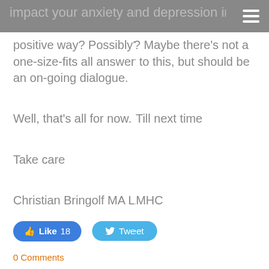impact your anxiety and depression in a positive way?
positive way? Possibly? Maybe there's not a one-size-fits all answer to this, but should be an on-going dialogue.
Well, that's all for now. Till next time
Take care
Christian Bringolf MA LMHC
Like 18   Tweet
0 Comments